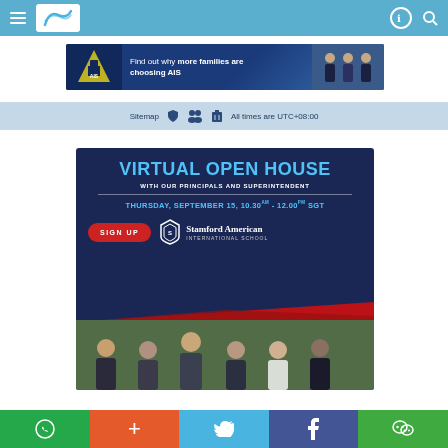Navigation bar with hamburger menu, logo, and icons
[Figure (screenshot): AIS (Australian International School) banner ad: 'Find out why more families are choosing AIS' with school logo and photo of students]
Sitemap   All times are UTC+08:00
[Figure (infographic): Stamford American International School Virtual Open House event banner. Dark navy background. Title: VIRTUAL OPEN HOUSE. Subtitle: WITH OUR PRINCIPALS AND SUPERINTENDENT. Date: THURSDAY, SEPTEMBER 15, 10.30AM - 12.00PM SGT. Red SIGN UP button. Stamford American International School logo. Photo of school principals and superintendent.]
Social share buttons: WhatsApp, +, Twitter, Facebook, WeChat